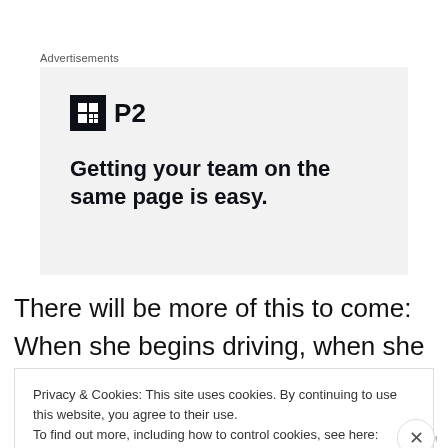Advertisements
[Figure (screenshot): Advertisement banner for P2 product with logo icon showing a grid/table icon and bold text reading 'Getting your team on the same page is easy.']
There will be more of this to come: When she begins driving, when she moves out for the first time, when she
Privacy & Cookies: This site uses cookies. By continuing to use this website, you agree to their use.
To find out more, including how to control cookies, see here: Cookie Policy

[Close and accept]